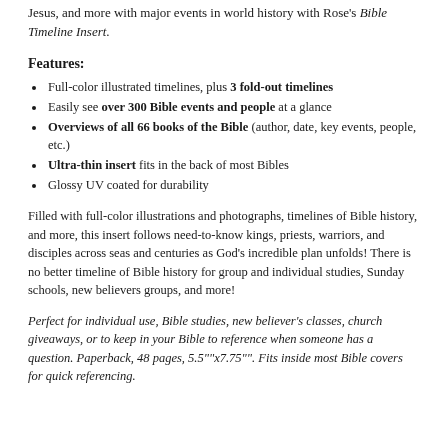Jesus, and more with major events in world history with Rose's Bible Timeline Insert.
Features:
Full-color illustrated timelines, plus 3 fold-out timelines
Easily see over 300 Bible events and people at a glance
Overviews of all 66 books of the Bible (author, date, key events, people, etc.)
Ultra-thin insert fits in the back of most Bibles
Glossy UV coated for durability
Filled with full-color illustrations and photographs, timelines of Bible history, and more, this insert follows need-to-know kings, priests, warriors, and disciples across seas and centuries as God's incredible plan unfolds! There is no better timeline of Bible history for group and individual studies, Sunday schools, new believers groups, and more!
Perfect for individual use, Bible studies, new believer's classes, church giveaways, or to keep in your Bible to reference when someone has a question. Paperback, 48 pages, 5.5""x7.75"". Fits inside most Bible covers for quick referencing.